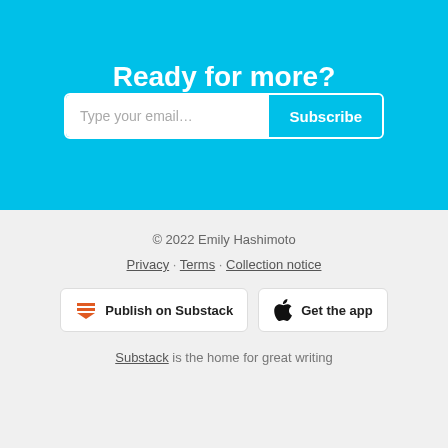Ready for more?
Type your email... Subscribe
© 2022 Emily Hashimoto
Privacy · Terms · Collection notice
Publish on Substack
Get the app
Substack is the home for great writing